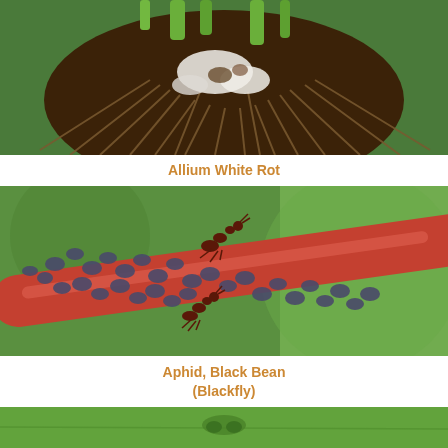[Figure (photo): Close-up photo of Allium White Rot: a plant bulb/root with white fungal growth and dark rot visible among dense fibrous roots against a green background.]
Allium White Rot
[Figure (photo): Close-up photo of Aphid, Black Bean (Blackfly): a red plant stem densely covered with dark blue-grey aphids and two ants tending them, with a green leaf in the background.]
Aphid, Black Bean
(Blackfly)
[Figure (photo): Partial view of a third plant pest photo at the bottom of the page showing a green insect on a green leaf surface.]